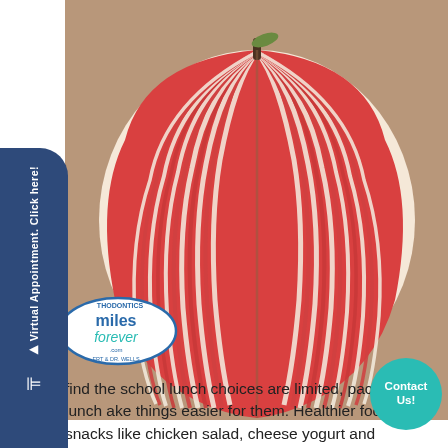[Figure (photo): A creative photo of an apple made to look like it is constructed from layered paper strips — red and cream colored — arranged in a fan pattern, resembling a book, photographed on a brown surface.]
[Figure (logo): Smiles Forever Orthodontics logo — oval shaped with blue border, text reads 'THODONTICS miles forever .com ERT & DR. WELLS']
find the school lunch choices are limited, packing a lunch ake things easier for them. Healthier foods and snacks like chicken salad, cheese yogurt and applesauce are gentle on the braces and can help your child feel full throughout y. Prepping the night before, by cutting foods into bite s pieces, and thinly slicing fruits and vegetables, can be a time